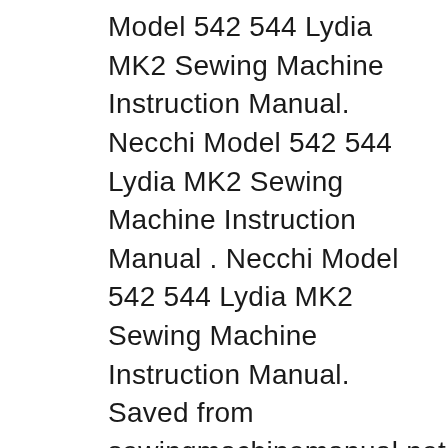Model 542 544 Lydia MK2 Sewing Machine Instruction Manual. Necchi Model 542 544 Lydia MK2 Sewing Machine Instruction Manual . Necchi Model 542 544 Lydia MK2 Sewing Machine Instruction Manual. Saved from sewingmachinemanual.net. Discover ideas about Old Sewing Machines. Necchi Model 542 544 Lydia MK2 Sewing Machine Instruction Manual. Old Sewing Machines Bilal вЂ¦, Necchi Model 542 544 Lydia MK2 Sewing Machine Instruction Manual. Necchi Model 542 544 Lydia MK2 Sewing Machine Instruction Manual . Necchi Model 542 544 Lydia MK2 Sewing Machine Instruction Manual. Saved from sewingmachinemanual.net. Discover